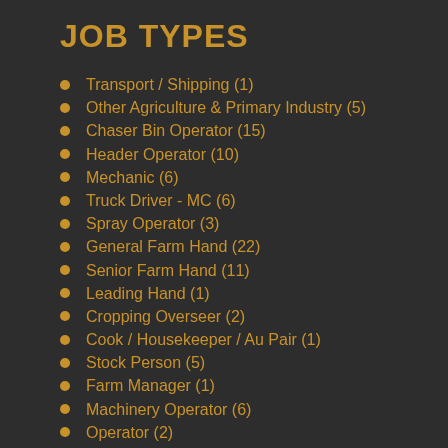JOB TYPES
Transport / Shipping (1)
Other Agriculture & Primary Industry (5)
Chaser Bin Operator (15)
Header Operator (10)
Mechanic (6)
Truck Driver - MC (6)
Spray Operator (3)
General Farm Hand (22)
Senior Farm Hand (11)
Leading Hand (1)
Cropping Overseer (2)
Cook / Housekeeper / Au Pair (1)
Stock Person (5)
Farm Manager (1)
Machinery Operator (6)
Operator (2)
Baler Operator (2)
Manager (2)